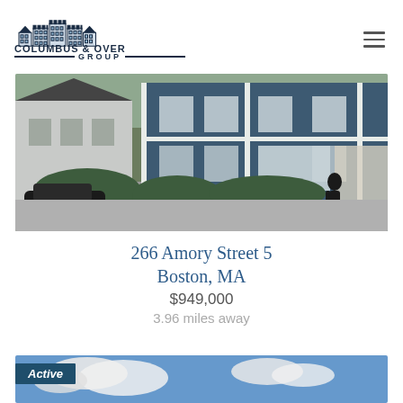[Figure (logo): Columbus & Over Group logo with building icon]
[Figure (photo): Exterior photo of 266 Amory Street 5, a multi-unit residential building in Boston MA, blue-grey clapboard siding]
266 Amory Street 5
Boston, MA
$949,000
3.96 miles away
[Figure (photo): Second property listing photo with blue sky, partially visible, with Active badge overlay]